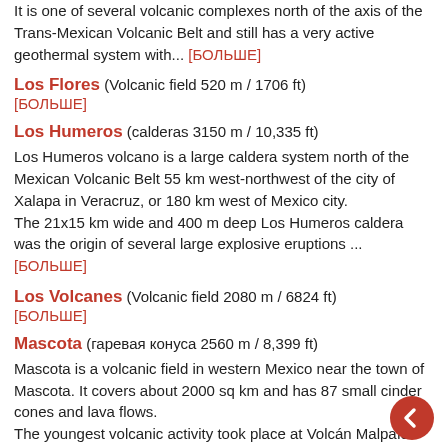It is one of several volcanic complexes north of the axis of the Trans-Mexican Volcanic Belt and still has a very active geothermal system with... [БОЛЬШЕ]
Los Flores (Volcanic field 520 m / 1706 ft)
[БОЛЬШЕ]
Los Humeros (calderas 3150 m / 10,335 ft)
Los Humeros volcano is a large caldera system north of the Mexican Volcanic Belt 55 km west-northwest of the city of Xalapa in Veracruz, or 180 km west of Mexico city.
The 21x15 km wide and 400 m deep Los Humeros caldera was the origin of several large explosive eruptions ... [БОЛЬШЕ]
Los Volcanes (Volcanic field 2080 m / 6824 ft)
[БОЛЬШЕ]
Mascota (гаревая конуса 2560 m / 8,399 ft)
Mascota is a volcanic field in western Mexico near the town of Mascota. It covers about 2000 sq km and has 87 small cinder cones and lava flows.
The youngest volcanic activity took place at Volcán Malpaís north of Mascota and produced a basaltic-andesite lava flow probably [БОЛЬШЕ]